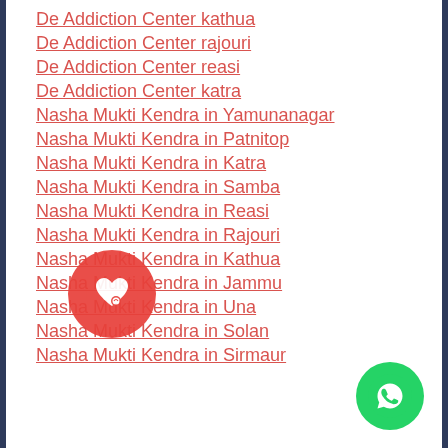De Addiction Center kathua
De Addiction Center rajouri
De Addiction Center reasi
De Addiction Center katra
Nasha Mukti Kendra in Yamunanagar
Nasha Mukti Kendra in Patnitop
Nasha Mukti Kendra in Katra
Nasha Mukti Kendra in Samba
Nasha Mukti Kendra in Reasi
Nasha Mukti Kendra in Rajouri
Nasha Mukti Kendra in Kathua
Nasha Mukti Kendra in Jammu
Nasha Mukti Kendra in Una
Nasha Mukti Kendra in Solan
Nasha Mukti Kendra in Sirmaur